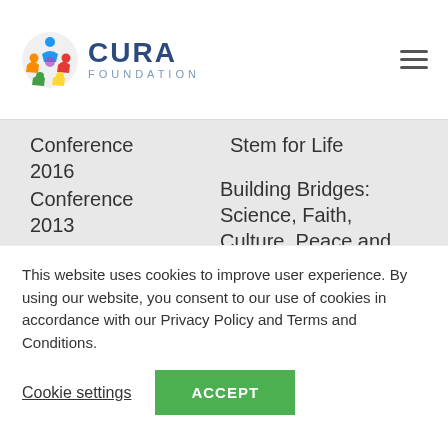[Figure (logo): CURA Foundation logo with colorful circular icon and text]
Conference 2016
Conference 2013
Conference 2011
Conference Inflammation
Stem for Life
Building Bridges: Science, Faith, Culture, Peace and Society
Bridging Science and Faith
This website uses cookies to improve user experience. By using our website, you consent to our use of cookies in accordance with our Privacy Policy and Terms and Conditions.
Cookie settings
ACCEPT